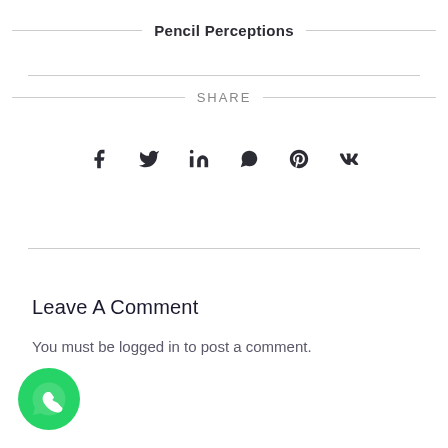Pencil Perceptions
SHARE
[Figure (infographic): Social media share icons: Facebook (f), Twitter (bird), LinkedIn (in), WhatsApp (speech bubble with phone), Pinterest (P), VK (VK logo)]
Leave A Comment
You must be logged in to post a comment.
[Figure (logo): WhatsApp green circular logo with phone handset icon]